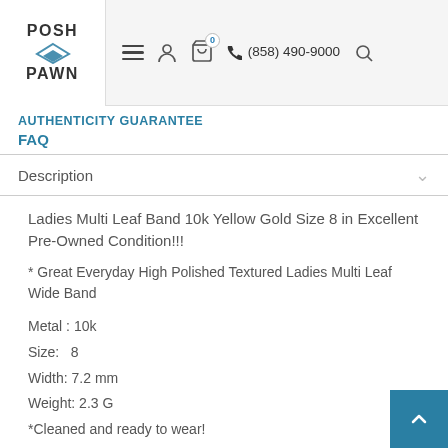POSH PAWN | (858) 490-9000
AUTHENTICITY GUARANTEE
FAQ
Description
Ladies Multi Leaf Band 10k Yellow Gold Size 8 in Excellent Pre-Owned Condition!!!
* Great Everyday High Polished Textured Ladies Multi Leaf Wide Band
Metal : 10k
Size:   8
Width: 7.2 mm
Weight: 2.3 G
*Cleaned and ready to wear!